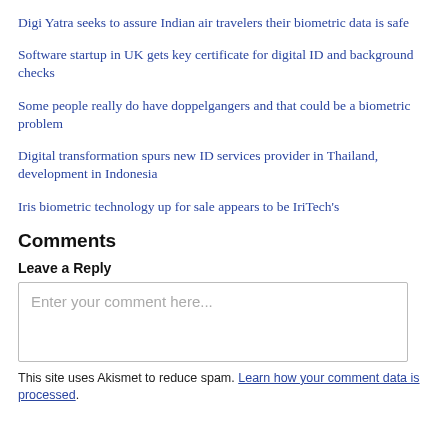Digi Yatra seeks to assure Indian air travelers their biometric data is safe
Software startup in UK gets key certificate for digital ID and background checks
Some people really do have doppelgangers and that could be a biometric problem
Digital transformation spurs new ID services provider in Thailand, development in Indonesia
Iris biometric technology up for sale appears to be IriTech's
Comments
Leave a Reply
[Figure (other): Comment text input box with placeholder text 'Enter your comment here...']
This site uses Akismet to reduce spam. Learn how your comment data is processed.